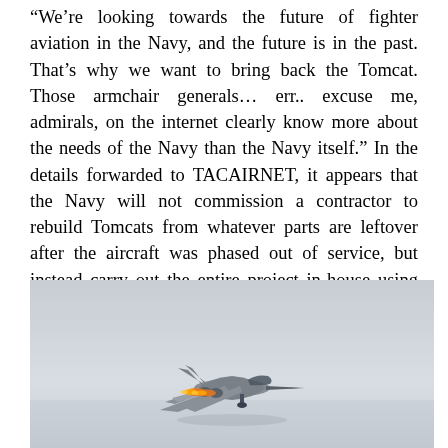“We’re looking towards the future of fighter aviation in the Navy, and the future is in the past. That’s why we want to bring back the Tomcat. Those armchair generals… err.. excuse me, admirals, on the internet clearly know more about the needs of the Navy than the Navy itself.” In the details forwarded to TACAIRNET, it appears that the Navy will not commission a contractor to rebuild Tomcats from whatever parts are leftover after the aircraft was phased out of service, but instead carry out the entire project in-house using Navy personnel.
[Figure (photo): A fighter jet aircraft (F-14 Tomcat style) photographed from below/front angle against a grey sky, with afterburners visible.]